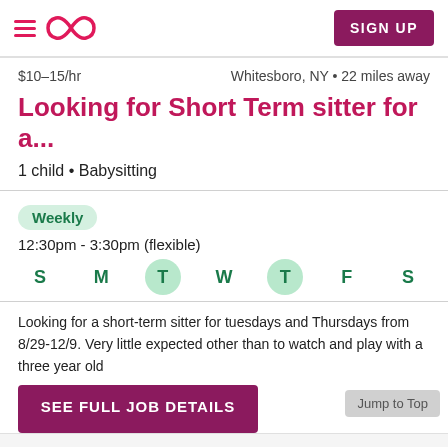Care.com navigation header with hamburger menu, logo, and SIGN UP button
$10–15/hr   Whitesboro, NY • 22 miles away
Looking for Short Term sitter for a...
1 child • Babysitting
Weekly
12:30pm - 3:30pm (flexible)
S M T W T F S (Tuesday and Thursday highlighted)
Looking for a short-term sitter for tuesdays and Thursdays from 8/29-12/9. Very little expected other than to watch and play with a three year old
SEE FULL JOB DETAILS